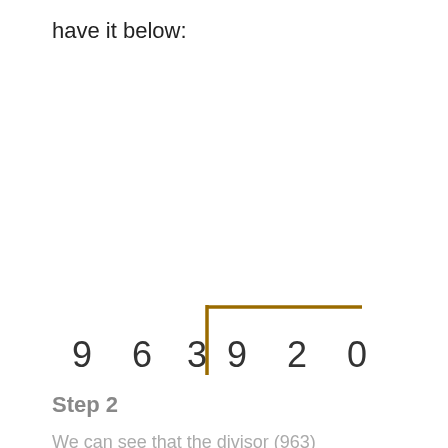have it below:
[Figure (math-figure): Long division setup showing dividend 963920 with a division bracket. The digits 9, 6, 3 appear to the left of the bracket and 9, 2, 0 appear inside the bracket. The bracket is drawn in dark gold/amber color.]
Step 2
We can see that the divisor (963)